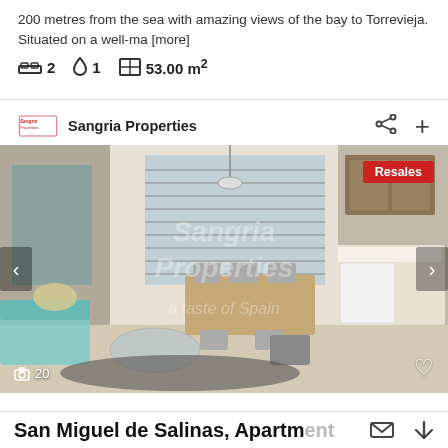200 metres from the sea with amazing views of the bay to Torrevieja. Situated on a well-ma [more]
2  1  53.00 m²
Sangria Properties
[Figure (photo): Interior photo of an apartment living/dining room with kitchen area, watermarked 'Sangria Properties - A taste of Spain'. Red 'Resales' badge top right. Navigation arrows on sides. Photo count '20' bottom left. Heart icon bottom right.]
San Miguel de Salinas, Apartment